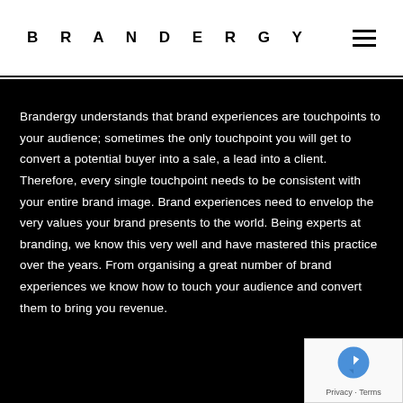BRANDERGY
Brandergy understands that brand experiences are touchpoints to your audience; sometimes the only touchpoint you will get to convert a potential buyer into a sale, a lead into a client. Therefore, every single touchpoint needs to be consistent with your entire brand image. Brand experiences need to envelop the very values your brand presents to the world. Being experts at branding, we know this very well and have mastered this practice over the years. From organising a great number of brand experiences we know how to touch your audience and convert them to bring you revenue.